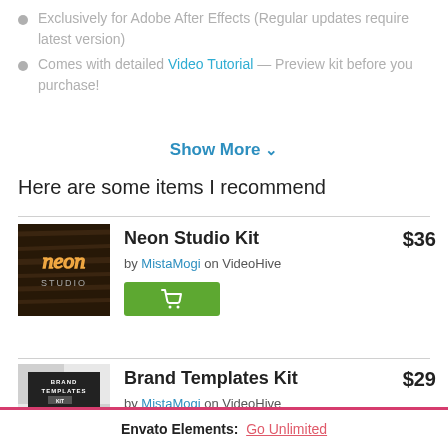Exclusively for Adobe After Effects (Regular updates require latest version)
Comes with detailed Video Tutorial — Preview kit before you purchase!
Show More ▾
Here are some items I recommend
Neon Studio Kit  $36  by MistaMogi on VideoHive
Brand Templates Kit  $29  by MistaMogi on VideoHive
Envato Elements: Go Unlimited